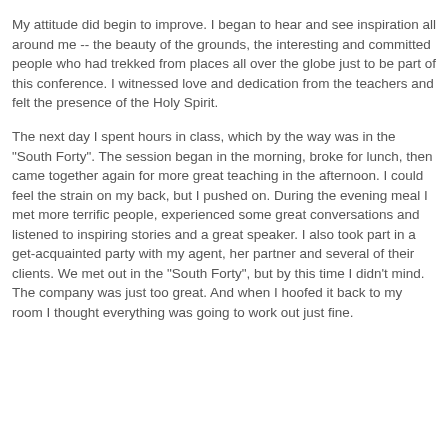God had my attention, but not fully. There was so much to think about and do. I really didn't have the time.
My attitude did begin to improve. I began to hear and see inspiration all around me -- the beauty of the grounds, the interesting and committed people who had trekked from places all over the globe just to be part of this conference. I witnessed love and dedication from the teachers and felt the presence of the Holy Spirit.
The next day I spent hours in class, which by the way was in the "South Forty". The session began in the morning, broke for lunch, then came together again for more great teaching in the afternoon. I could feel the strain on my back, but I pushed on. During the evening meal I met more terrific people, experienced some great conversations and listened to inspiring stories and a great speaker. I also took part in a get-acquainted party with my agent, her partner and several of their clients. We met out in the "South Forty", but by this time I didn't mind. The company was just too great. And when I hoofed it back to my room I thought everything was going to work out just fine.